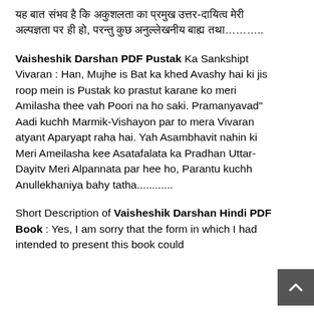[Hindi text] .........
Vaisheshik Darshan PDF Pustak Ka Sankshipt Vivaran : Han, Mujhe is Bat ka khed Avashy hai ki jis roop mein is Pustak ko prastut karane ko meri Amilasha thee vah Poori na ho saki. Pramanyavad” Aadi kuchh Marmik-Vishayon par to mera Vivaran atyant Aparyapt raha hai. Yah Asambhavit nahin ki Meri Ameilasha kee Asatafalata ka Pradhan Uttar-Dayitv Meri Alpannata par hee ho, Parantu kuchh Anullekhaniya bahy tatha............
Short Description of Vaisheshik Darshan Hindi PDF Book : Yes, I am sorry that the form in which I had intended to present this book could